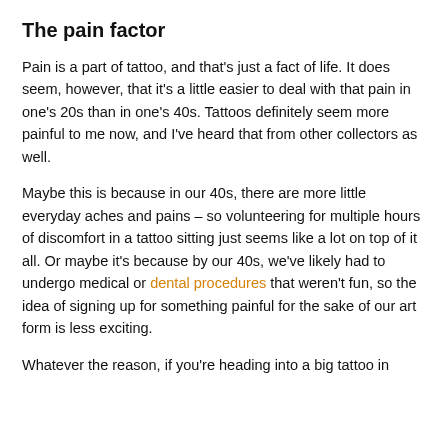The pain factor
Pain is a part of tattoo, and that’s just a fact of life. It does seem, however, that it’s a little easier to deal with that pain in one’s 20s than in one’s 40s. Tattoos definitely seem more painful to me now, and I’ve heard that from other collectors as well.
Maybe this is because in our 40s, there are more little everyday aches and pains – so volunteering for multiple hours of discomfort in a tattoo sitting just seems like a lot on top of it all. Or maybe it’s because by our 40s, we’ve likely had to undergo medical or dental procedures that weren’t fun, so the idea of signing up for something painful for the sake of our art form is less exciting.
Whatever the reason, if you’re heading into a big tattoo in your 40s, you’d better be able to cope with it.